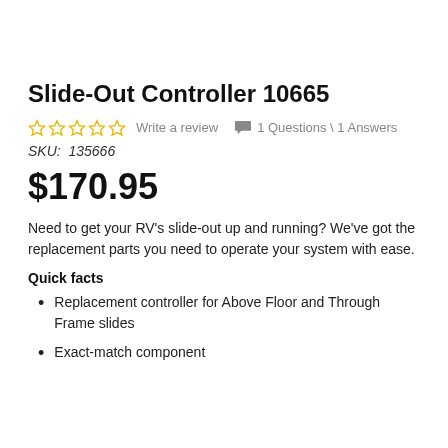Slide-Out Controller 10665
☆☆☆☆☆  Write a review   💬 1 Questions \ 1 Answers
SKU:  135666
$170.95
Need to get your RV's slide-out up and running? We've got the replacement parts you need to operate your system with ease.
Quick facts
Replacement controller for Above Floor and Through Frame slides
Exact-match component